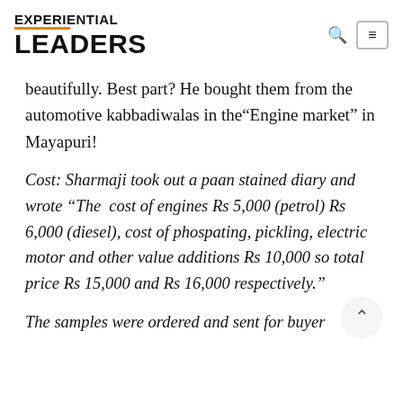EXPERIENTIAL LEADers
beautifully. Best part? He bought them from the automotive kabbadiwalas in the“Engine market” in Mayapuri!
Cost: Sharmaji took out a paan stained diary and wrote “The cost of engines Rs 5,000 (petrol) Rs 6,000 (diesel), cost of phospating, pickling, electric motor and other value additions Rs 10,000 so total price Rs 15,000 and Rs 16,000 respectively.”
The samples were ordered and sent for buyer